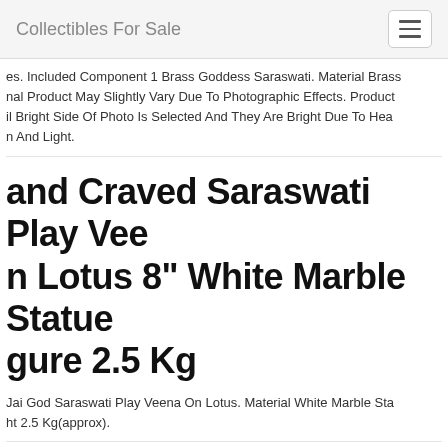Collectibles For Sale
es. Included Component 1 Brass Goddess Saraswati. Material Brass nal Product May Slightly Vary Due To Photographic Effects. Product il Bright Side Of Photo Is Selected And They Are Bright Due To Heat n And Light.
and Craved Saraswati Play Veen n Lotus 8" White Marble Statue gure 2.5 Kg
Jai God Saraswati Play Veena On Lotus. Material White Marble Sta ht 2.5 Kg(approx).
:" Old Tibet Buddhist Bronze Go irquoise Saraswati Goddess iddha Statue